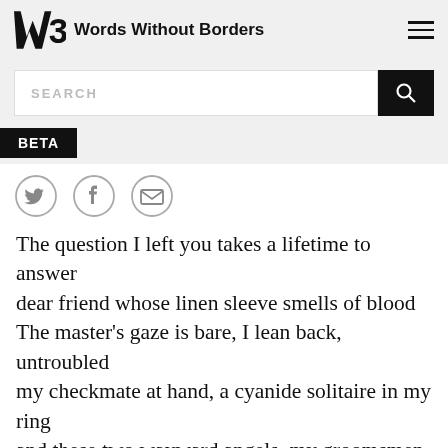Words Without Borders
SEARCH
BETA
[Figure (infographic): Three social share icons: Twitter bird, Facebook F, and envelope (email), all outlined in gray circles]
The question I left you takes a lifetime to answer
dear friend whose linen sleeve smells of blood
The master’s gaze is bare, I lean back, untroubled
my checkmate at hand, a cyanide solitaire in my ring
and these two wayward angels, my groomsmen
calling the end of the line, the adventure
of the adventure, this love